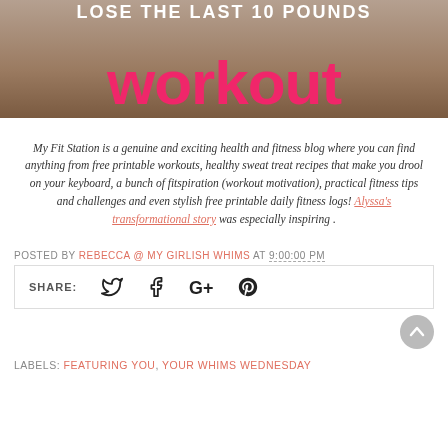[Figure (photo): Book or magazine cover showing 'LOSE THE LAST 10 POUNDS WORKOUT' text in large pink/red letters on a brown/tan background]
My Fit Station is a genuine and exciting health and fitness blog where you can find anything from free printable workouts, healthy sweat treat recipes that make you drool on your keyboard, a bunch of fitspiration (workout motivation), practical fitness tips and challenges and even stylish free printable daily fitness logs! Alyssa's transformational story was especially inspiring .
POSTED BY REBECCA @ MY GIRLISH WHIMS AT 9:00:00 PM
SHARE:
LABELS: FEATURING YOU, YOUR WHIMS WEDNESDAY